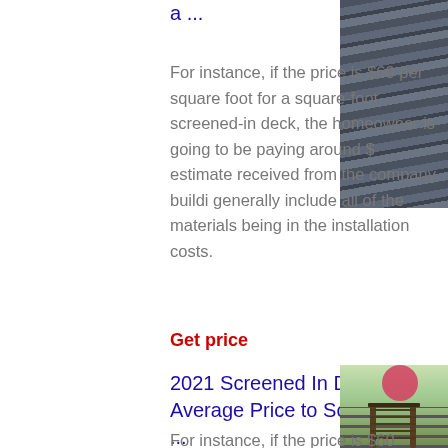a ...
[Figure (photo): Close-up of dark grey wood deck boards with visible grain texture]
For instance, if the price is $60 per square foot for a square-foot screened-in deck, the homeowner is going to be paying around $ estimate received from the company buildi generally include all of the materials being in the installation costs.
Get price
2021 Screened In Deck Cost | Average Price to Screen In a ...
[Figure (photo): Screened-in deck with railing and greenery in background]
For instance, if the price is $60